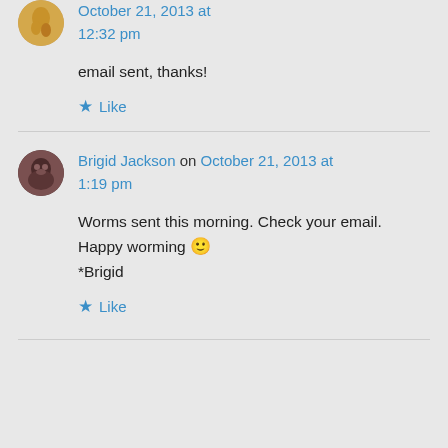on October 21, 2013 at 12:32 pm
email sent, thanks!
Like
Brigid Jackson on October 21, 2013 at 1:19 pm
Worms sent this morning. Check your email. Happy worming 🙂 *Brigid
Like